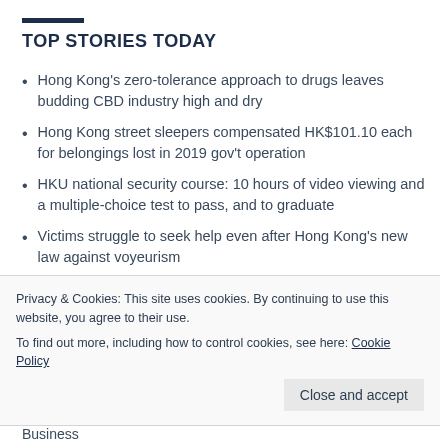TOP STORIES TODAY
Hong Kong's zero-tolerance approach to drugs leaves budding CBD industry high and dry
Hong Kong street sleepers compensated HK$101.10 each for belongings lost in 2019 gov't operation
HKU national security course: 10 hours of video viewing and a multiple-choice test to pass, and to graduate
Victims struggle to seek help even after Hong Kong's new law against voyeurism
Privacy & Cookies: This site uses cookies. By continuing to use this website, you agree to their use. To find out more, including how to control cookies, see here: Cookie Policy
Close and accept
Business